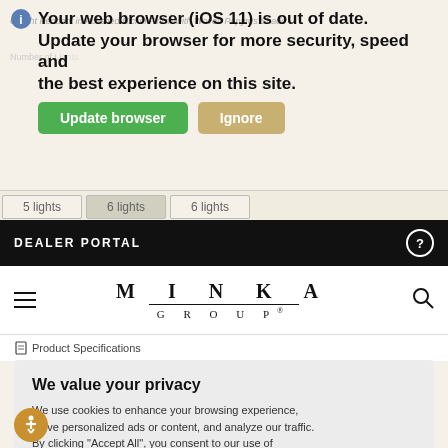Your web browser (iOS 11) is out of date. Update your browser for more security, speed and the best experience on this site.
[Figure (screenshot): Browser update notification banner with Update browser (green) and Ignore (tan) buttons]
DEALER PORTAL
[Figure (logo): MINKA GROUP logo in spaced serif lettering]
Product Specifications
We value your privacy
We use cookies to enhance your browsing experience, serve personalized ads or content, and analyze our traffic. By clicking "Accept All", you consent to our use of cookies. Read More
Customize | Reject All | Accept All